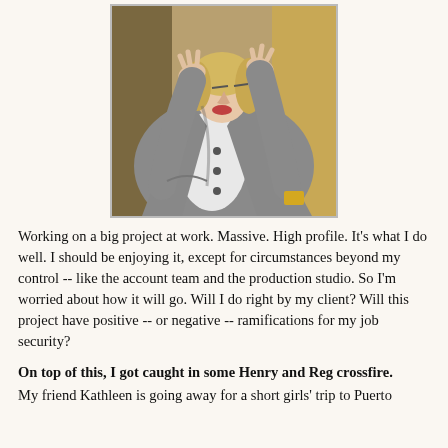[Figure (photo): A blonde woman in a gray coat with hands raised to her temples, appearing stressed or overwhelmed, photographed indoors.]
Working on a big project at work. Massive. High profile. It's what I do well. I should be enjoying it, except for circumstances beyond my control -- like the account team and the production studio. So I'm worried about how it will go. Will I do right by my client? Will this project have positive -- or negative -- ramifications for my job security?
On top of this, I got caught in some Henry and Reg crossfire.
My friend Kathleen is going away for a short girls' trip to Puerto